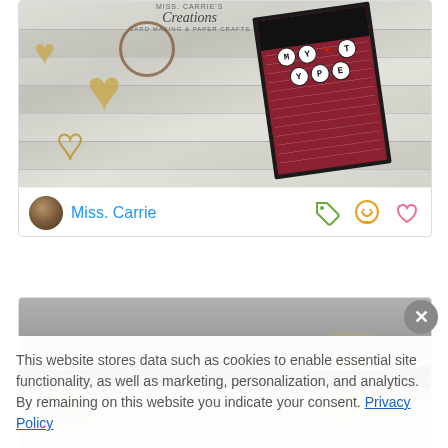[Figure (photo): Craft card photo showing 'MY TYPE' letter circles on a brick-patterned card with wooden heart decorations on a white wood plank background. Miss Carrie's Creations logo visible.]
Miss. Carrie
[Figure (photo): Blurred food photo showing golden nugget-shaped items (possibly crackers or snacks) on a dark glittery surface with gray background.]
This website stores data such as cookies to enable essential site functionality, as well as marketing, personalization, and analytics. By remaining on this website you indicate your consent. Privacy Policy